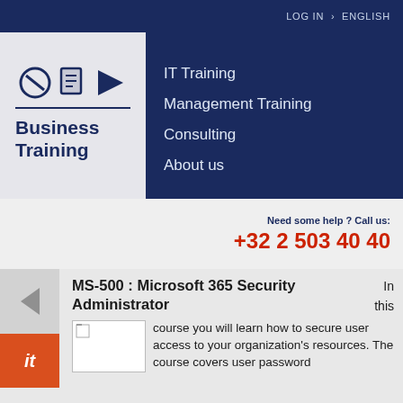LOG IN › ENGLISH
[Figure (logo): Business Training logo with three abstract icons and text 'Business Training']
IT Training
Management Training
Consulting
About us
Need some help ? Call us: +32 2 503 40 40
MS-500 : Microsoft 365 Security Administrator
In this course you will learn how to secure user access to your organization's resources. The course covers user password